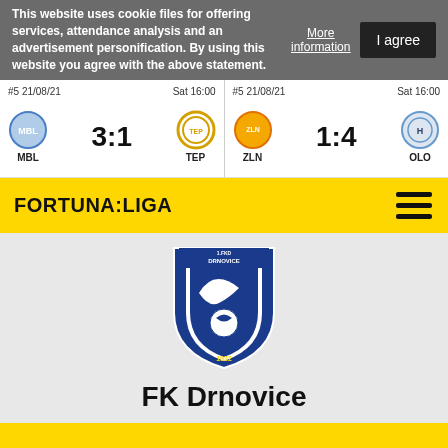This website uses cookie files for offering services, attendance analysis and an advertisement personification. By using this website you agree with the above statement.
More information
I agree
| #5 21/08/21 | Sat 16:00 | #5 21/08/21 | Sat 16:00 |
| MBL | 3:1 | TEP | ZLN | 1:4 | OLO |
FORTUNA:LIGA
[Figure (logo): FK Drnovice club crest shield logo with text 1.FKD DRNOVICE 1932]
FK Drnovice